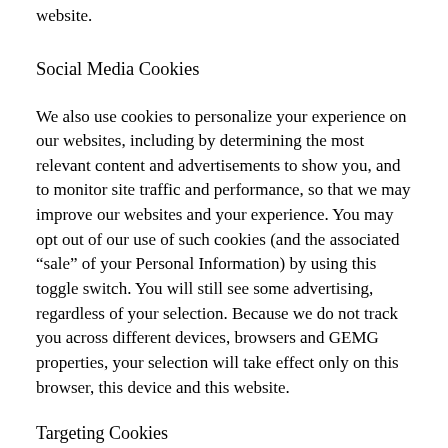website.
Social Media Cookies
We also use cookies to personalize your experience on our websites, including by determining the most relevant content and advertisements to show you, and to monitor site traffic and performance, so that we may improve our websites and your experience. You may opt out of our use of such cookies (and the associated “sale” of your Personal Information) by using this toggle switch. You will still see some advertising, regardless of your selection. Because we do not track you across different devices, browsers and GEMG properties, your selection will take effect only on this browser, this device and this website.
Targeting Cookies